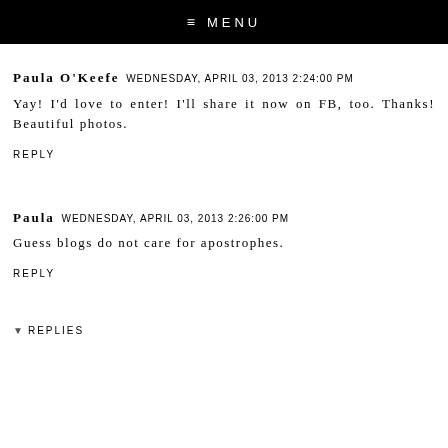≡ MENU
Paula O'Keefe WEDNESDAY, APRIL 03, 2013 2:24:00 PM
Yay! I'd love to enter! I'll share it now on FB, too. Thanks! Beautiful photos.
REPLY
Paula WEDNESDAY, APRIL 03, 2013 2:26:00 PM
Guess blogs do not care for apostrophes.
REPLY
▾ REPLIES